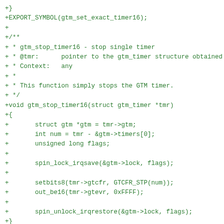+}
+EXPORT_SYMBOL(gtm_set_exact_timer16);
+
+/**
+ * gtm_stop_timer16 - stop single timer
+ * @tmr:      pointer to the gtm_timer structure obtained f
+ * Context:   any
+ *
+ * This function simply stops the GTM timer.
+ */
+void gtm_stop_timer16(struct gtm_timer *tmr)
+{
+       struct gtm *gtm = tmr->gtm;
+       int num = tmr - &gtm->timers[0];
+       unsigned long flags;
+
+       spin_lock_irqsave(&gtm->lock, flags);
+
+       setbits8(tmr->gtcfr, GTCFR_STP(num));
+       out_be16(tmr->gtevr, 0xFFFF);
+
+       spin_unlock_irqrestore(&gtm->lock, flags);
+}
+EXPORT_SYMBOL(gtm_stop_timer16);
+